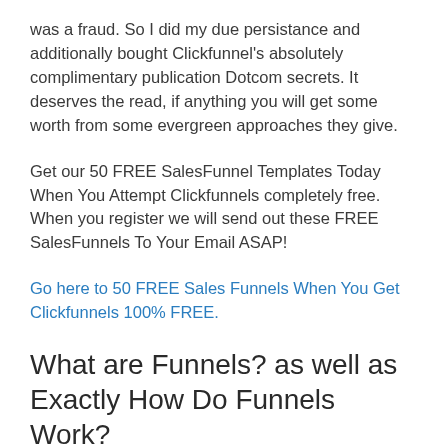was a fraud. So I did my due persistance and additionally bought Clickfunnel’s absolutely complimentary publication Dotcom secrets. It deserves the read, if anything you will get some worth from some evergreen approaches they give.
Get our 50 FREE SalesFunnel Templates Today When You Attempt Clickfunnels completely free. When you register we will send out these FREE SalesFunnels To Your Email ASAP!
Go here to 50 FREE Sales Funnels When You Get Clickfunnels 100% FREE.
What are Funnels? as well as Exactly How Do Funnels Work?